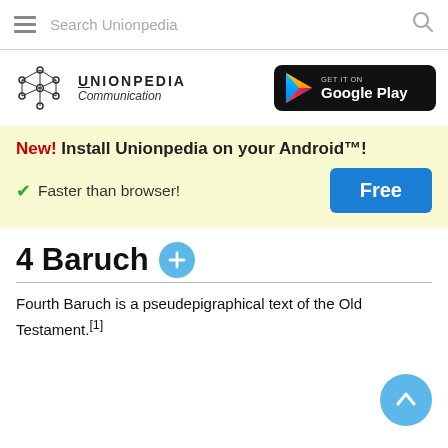Search Unionpedia
[Figure (logo): Unionpedia network logo with text 'UNIONPEDIA Communication' and Google Play store badge]
New! Install Unionpedia on your Android™! ✔ Faster than browser! [Free button]
4 Baruch
Fourth Baruch is a pseudepigraphical text of the Old Testament.[1]